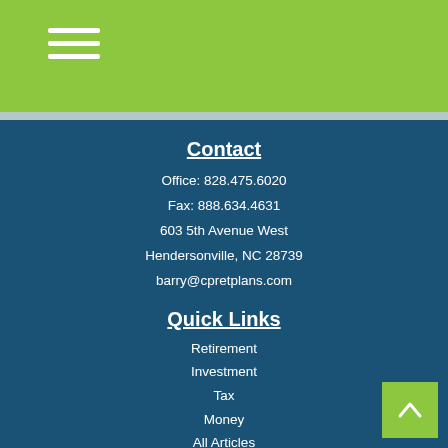Contact
Office: 828.475.6020
Fax: 888.634.4631
603 5th Avenue West
Hendersonville, NC 28739
barry@cpretplans.com
Quick Links
Retirement
Investment
Tax
Money
All Articles
All Videos
All Calculators
All Presentations